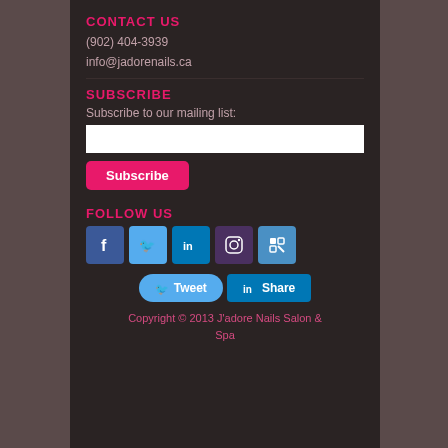CONTACT US
(902) 404-3939
info@jadorenails.ca
SUBSCRIBE
Subscribe to our mailing list:
[Figure (screenshot): White email input text field]
[Figure (screenshot): Pink Subscribe button]
FOLLOW US
[Figure (infographic): Row of five social media icons: Facebook, Twitter, LinkedIn, Instagram, Foursquare]
[Figure (screenshot): Tweet button and LinkedIn Share button]
Copyright © 2013 J'adore Nails Salon & Spa